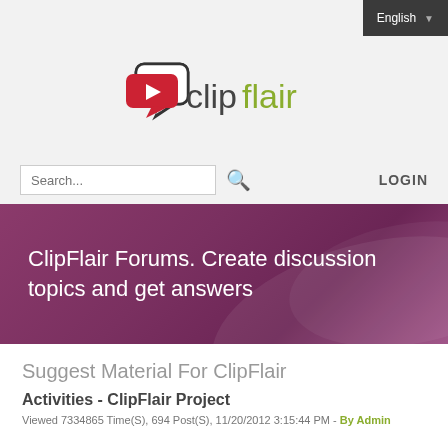English
[Figure (logo): ClipFlair logo with red/pink video camera speech bubble icon and text 'clipflair' where 'clip' is in dark gray and 'flair' is in olive/yellow-green]
Search...
LOGIN
ClipFlair Forums. Create discussion topics and get answers
Suggest Material For ClipFlair
Activities - ClipFlair Project
Viewed 7334865 Time(S), 694 Post(S), 11/20/2012 3:15:44 PM - By Admin